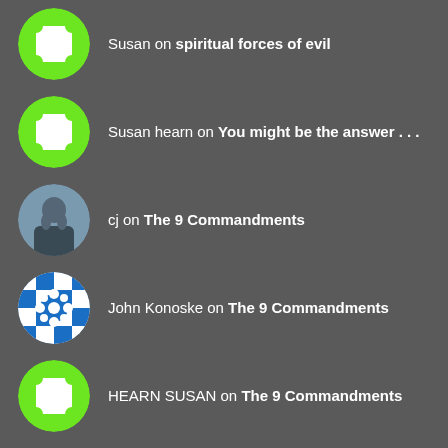Susan on spiritual forces of evil
Susan hearn on You might be the answer . . .
cj on The 9 Commandments
John Konoske on The 9 Commandments
HEARN SUSAN on The 9 Commandments
Archives
May 2022
April 2022
March 2022